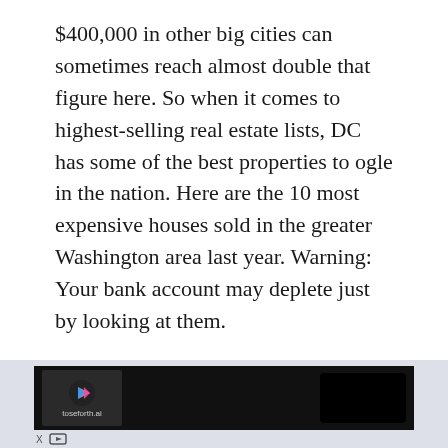$400,000 in other big cities can sometimes reach almost double that figure here. So when it comes to highest-selling real estate lists, DC has some of the best properties to ogle in the nation. Here are the 10 most expensive houses sold in the greater Washington area last year. Warning: Your bank account may deplete just by looking at them.
Note: MRIS provided the ranking information and images for this list.
10. 10214 Iron Gate Rd., Potomac MD, 20854
$5.5 million
Features to ogle: A tub fit for Marie Antoinette
[Figure (other): Advertisement banner at the bottom of the page with dark background, showing a logo/video thumbnail on the left and a black rectangle on the right, with X and skip controls below.]